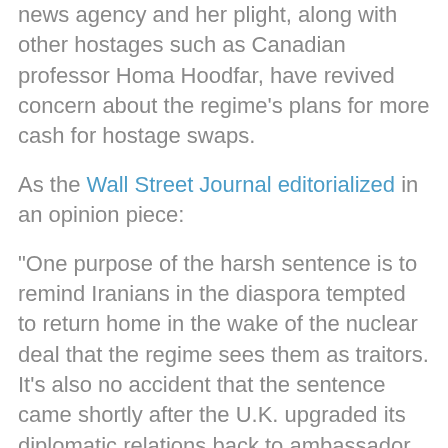news agency and her plight, along with other hostages such as Canadian professor Homa Hoodfar, have revived concern about the regime's plans for more cash for hostage swaps.
As the Wall Street Journal editorialized in an opinion piece:
“One purpose of the harsh sentence is to remind Iranians in the diaspora tempted to return home in the wake of the nuclear deal that the regime sees them as traitors. It’s also no accident that the sentence came shortly after the U.K. upgraded its diplomatic relations back to ambassador level.
“Foreign Secretary Boris Johnson cheered the